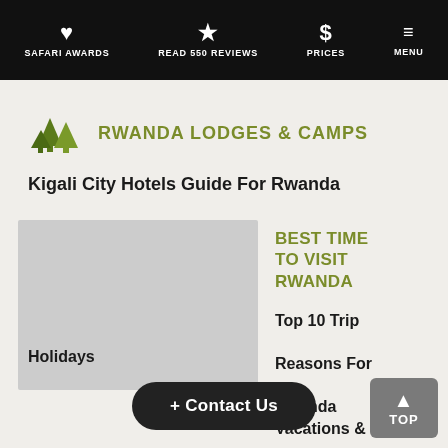SAFARI AWARDS | READ 550 REVIEWS | PRICES | MENU
RWANDA LODGES & CAMPS
Kigali City Hotels Guide For Rwanda
[Figure (photo): Photo placeholder for Kigali City Hotels]
BEST TIME TO VISIT RWANDA
Top 10 Trip Reasons For Rwanda Vacations & Holidays